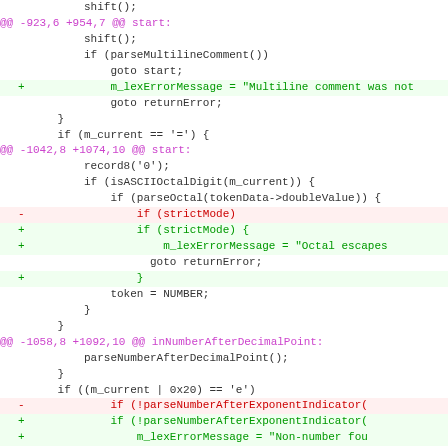[Figure (screenshot): A unified diff / code patch view showing changes to a JavaScript/C++ lexer source file, with hunk headers in magenta, removed lines in red, added lines in green, and context lines in black monospace font.]